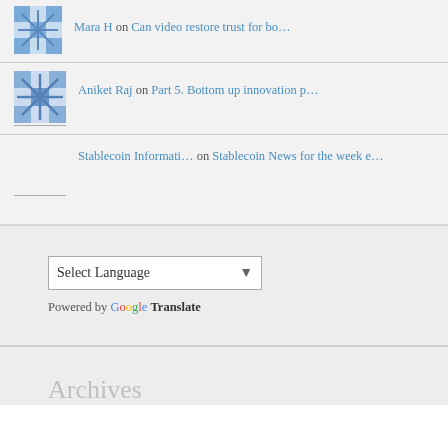Mara H on Can video restore trust for bo…
[Figure (illustration): Pixelated avatar icon in blue and white geometric pattern]
Aniket Raj on Part 5. Bottom up innovation p…
Stablecoin Informati… on Stablecoin News for the week e…
Select Language (dropdown) — Powered by Google Translate
Archives